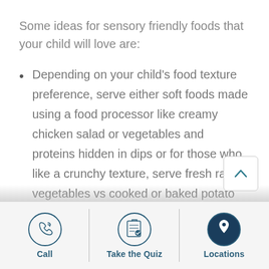Some ideas for sensory friendly foods that your child will love are:
Depending on your child's food texture preference, serve either soft foods made using a food processor like creamy chicken salad or vegetables and proteins hidden in dips or for those who like a crunchy texture, serve fresh raw vegetables vs cooked or baked potato wedges instead of mashed potatoes. You can
Call | Take the Quiz | Locations